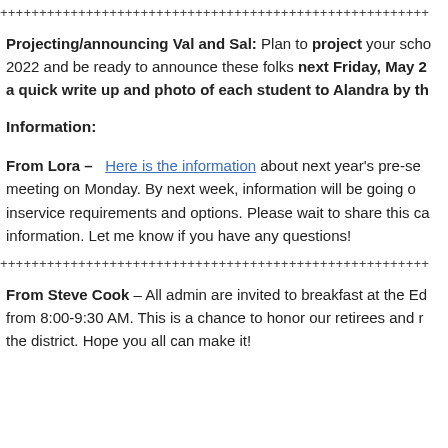++++++++++++++++++++++++++++++++++++++++++++++++++++
Projecting/announcing Val and Sal: Plan to project your school's Val and Sal for 2022 and be ready to announce these folks next Friday, May 27. Please send a quick write up and photo of each student to Alandra by th
Information:
From Lora – Here is the information about next year's pre-service meeting on Monday. By next week, information will be going out about inservice requirements and options. Please wait to share this cal information. Let me know if you have any questions!
++++++++++++++++++++++++++++++++++++++++++++++++++++
From Steve Cook – All admin are invited to breakfast at the Ed from 8:00-9:30 AM. This is a chance to honor our retirees and the district. Hope you all can make it!